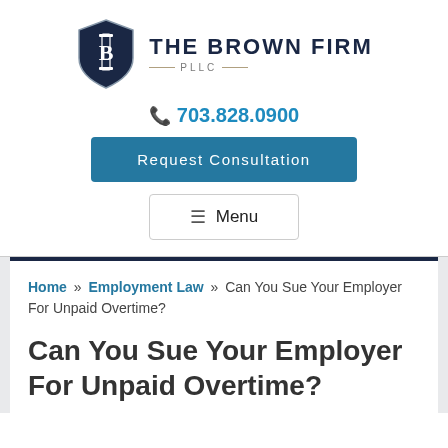[Figure (logo): The Brown Firm PLLC logo: dark navy shield with white B and column, next to text 'THE BROWN FIRM' and 'PLLC']
703.828.0900
Request Consultation
Menu
Home » Employment Law » Can You Sue Your Employer For Unpaid Overtime?
Can You Sue Your Employer For Unpaid Overtime?